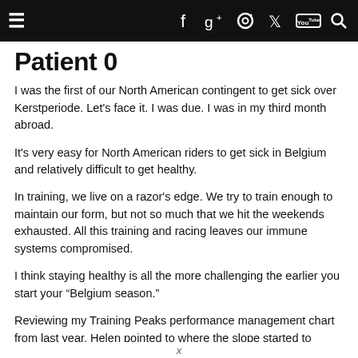Navigation bar with hamburger menu, social icons (Facebook, Google+, Instagram, Twitter, YouTube), and search icon
Patient 0
I was the first of our North American contingent to get sick over Kerstperiode. Let’s face it. I was due. I was in my third month abroad.
It’s very easy for North American riders to get sick in Belgium and relatively difficult to get healthy.
In training, we live on a razor’s edge. We try to train enough to maintain our form, but not so much that we hit the weekends exhausted. All this training and racing leaves our immune systems compromised.
I think staying healthy is all the more challenging the earlier you start your “Belgium season.”
Reviewing my Training Peaks performance management chart from last year, Helen pointed to where the slope started to
x